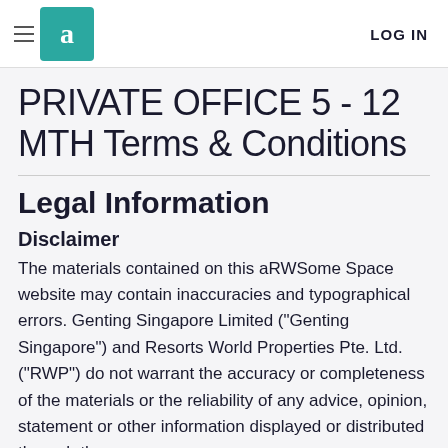LOG IN
PRIVATE OFFICE 5 - 12 MTH Terms & Conditions
Legal Information
Disclaimer
The materials contained on this aRWSome Space website may contain inaccuracies and typographical errors. Genting Singapore Limited ("Genting Singapore") and Resorts World Properties Pte. Ltd. ("RWP") do not warrant the accuracy or completeness of the materials or the reliability of any advice, opinion, statement or other information displayed or distributed through the